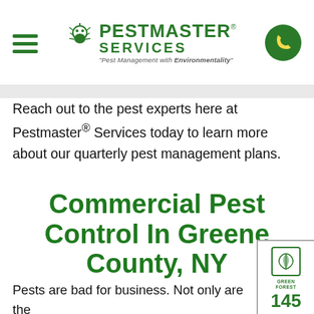[Figure (logo): Pestmaster Services logo with bug icon, company name in green, and tagline 'Pest Management with Environmentality']
Reach out to the pest experts here at Pestmaster® Services today to learn more about our quarterly pest management plans.
Commercial Pest Control In Greene County, NY
Pests are bad for business. Not only are they capable of damaging your property and